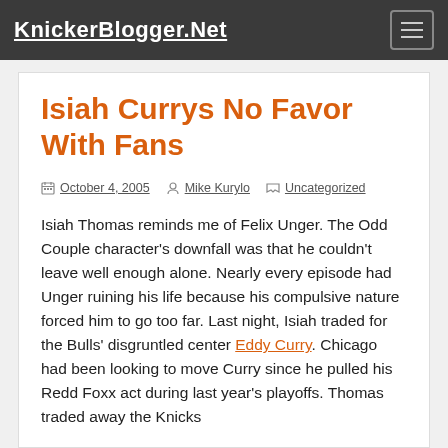KnickerBlogger.Net
Isiah Currys No Favor With Fans
October 4, 2005  Mike Kurylo  Uncategorized
Isiah Thomas reminds me of Felix Unger. The Odd Couple character's downfall was that he couldn't leave well enough alone. Nearly every episode had Unger ruining his life because his compulsive nature forced him to go too far. Last night, Isiah traded for the Bulls' disgruntled center Eddy Curry. Chicago had been looking to move Curry since he pulled his Redd Foxx act during last year's playoffs. Thomas traded away the Knicks